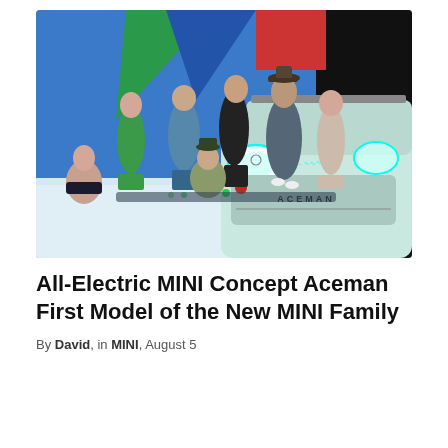[Figure (photo): Group of people standing and sitting around a light blue/mint colored MINI Concept Aceman electric car with glowing headlights displaying the ACEMAN name on the front grille area. The background has colorful geometric shapes in blue, green, and red. The setting appears to be a staged studio environment.]
All-Electric MINI Concept Aceman First Model of the New MINI Family
By David, in MINI, August 5